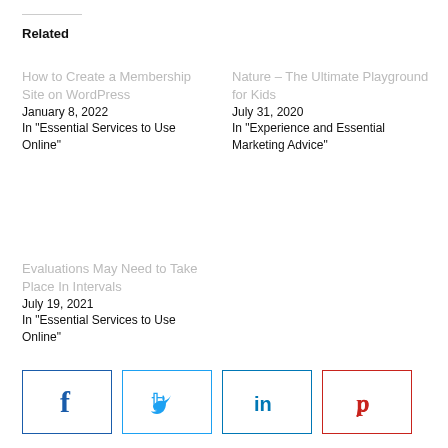Related
How to Create a Membership Site on WordPress
January 8, 2022
In "Essential Services to Use Online"
Nature – The Ultimate Playground for Kids
July 31, 2020
In "Experience and Essential Marketing Advice"
Evaluations May Need to Take Place In Intervals
July 19, 2021
In "Essential Services to Use Online"
[Figure (other): Social share buttons: Facebook, Twitter, LinkedIn, Pinterest]